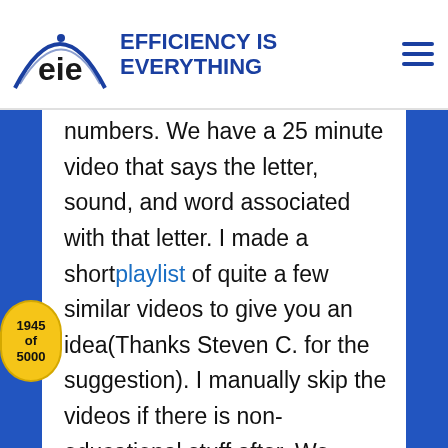EFFICIENCY IS EVERYTHING
numbers. We have a 25 minute video that says the letter, sound, and word associated with that letter. I made a shortplaylist of quite a few similar videos to give you an idea(Thanks Steven C. for the suggestion). I manually skip the videos if there is non-educational stuff after. We watch 0 Disney/fiction/fun videos. Honorable mention to Alphablocks, Numberblocks, and maybe Peg+Cat. By 15 months old, our kid could point at a letter and tell us the